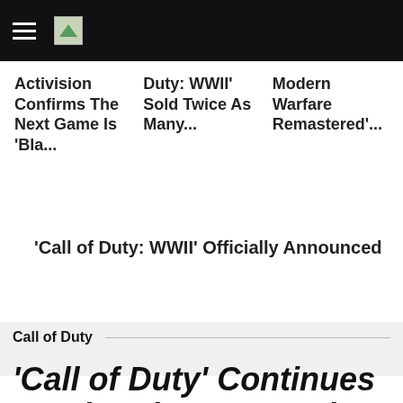[navigation bar with hamburger menu and logo]
Activision Confirms The Next Game Is 'Bla...
Duty: WWII' Sold Twice As Many...
Modern Warfare Remastered'...
'Call of Duty: WWII' Officially Announced
Call of Duty
‘Call of Duty’ Continues To Abandon PS3 and 360